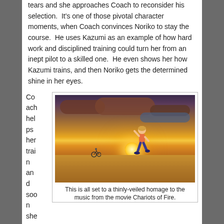tears and she approaches Coach to reconsider his selection. It's one of those pivotal character moments, when Coach convinces Noriko to stay the course. He uses Kazumi as an example of how hard work and disciplined training could turn her from an inept pilot to a skilled one. He even shows her how Kazumi trains, and then Noriko gets the determined shine in her eyes.
Coach helps her train and soon she
[Figure (illustration): Anime scene showing a character running/training on a beach at sunset with a large sun on the horizon, dramatic clouds in the sky, and a small figure in the background.]
This is all set to a thinly-veiled homage to the music from the movie Chariots of Fire.